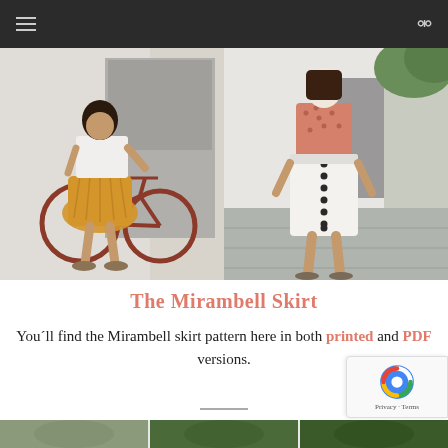Navigation bar with hamburger menu and search icon
[Figure (photo): Two side-by-side fashion photos: left shows a woman in a mustard/yellow pleated skirt with white t-shirt standing next to a red bicycle; right shows the back view of a woman in a white button-front midi skirt with pink patterned top on a street.]
The Mirambell Skirt
You´ll find the Mirambell skirt pattern here in both printed and PDF versions.
[Figure (photo): Partial view of bottom strip showing three small thumbnail images]